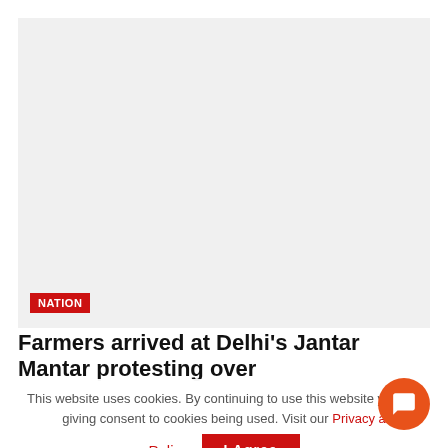[Figure (photo): Large image placeholder (light gray background), likely a photo related to farmers protest at Jantar Mantar, Delhi]
NATION
Farmers arrived at Delhi's Jantar Mantar protesting over
This website uses cookies. By continuing to use this website you are giving consent to cookies being used. Visit our Privacy and Cookie Policy.
I Agree